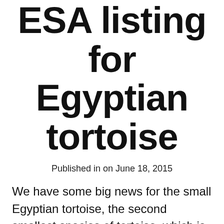ESA listing for Egyptian tortoise
Published in on June 18, 2015
We have some big news for the small Egyptian tortoise, the second smallest species of tortoise, which is believed to be extinct within Egypt but can still be found in Libya and in parts of the Negev Desert in Israel.